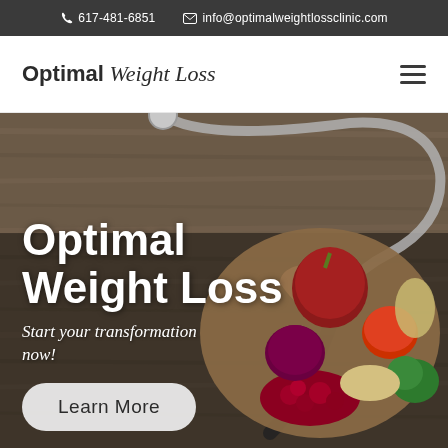617-481-6851   info@optimalweightlossclinic.com
Optimal Weight Loss
[Figure (photo): Hero background photo showing a heart-shaped wooden bowl filled with colorful vegetables (red onion, tomato, broccoli, cranberries, grains, fennel) and a stethoscope placed on a rustic wooden surface. White bold text overlaid reads 'Optimal Weight Loss' with subtitle 'Start your transformation now!' and a 'Learn More' button.]